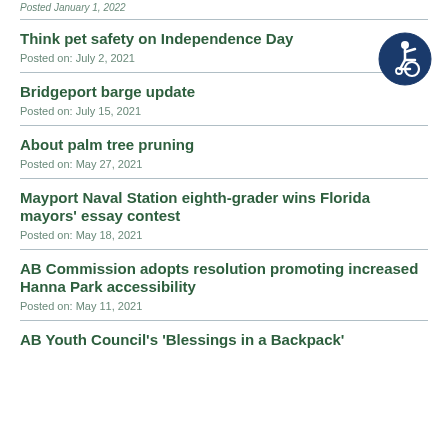Posted January 1, 2022
Think pet safety on Independence Day
Posted on: July 2, 2021
Bridgeport barge update
Posted on: July 15, 2021
About palm tree pruning
Posted on: May 27, 2021
Mayport Naval Station eighth-grader wins Florida mayors' essay contest
Posted on: May 18, 2021
AB Commission adopts resolution promoting increased Hanna Park accessibility
Posted on: May 11, 2021
AB Youth Council's 'Blessings in a Backpack'